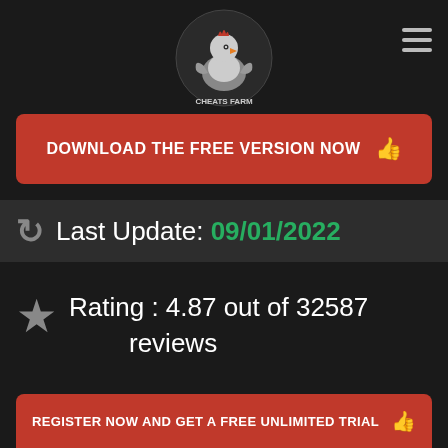[Figure (logo): Cheats Farm rooster mascot logo with text 'Cheats Farm']
≡ (hamburger menu icon)
DOWNLOAD THE FREE VERSION NOW 👍
Last Update: 09/01/2022
Rating : 4.87 out of 32587 reviews
REGISTER NOW AND GET A FREE UNLIMITED TRIAL 👍